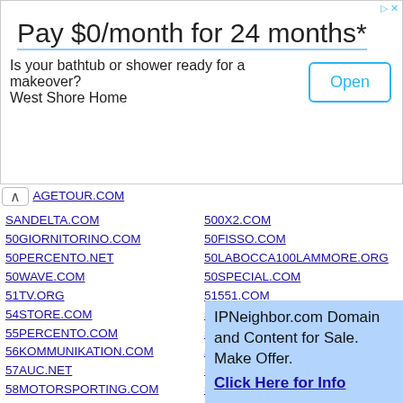[Figure (other): Advertisement banner: Pay $0/month for 24 months* — Is your bathtub or shower ready for a makeover? West Shore Home. Open button.]
AGETOUR.COM
500X2.COM
SANDEDELTA.COM
50FISSO.COM
50GIORNITORINO.COM
50LABOCCA100LAMMORE.ORG
50PERCENTO.NET
50SPECIAL.COM
50WAVE.COM
51551.COM
51TV.ORG
5282SHOWROOM.COM
54STORE.COM
55AVE.COM
55PERCENTO.COM
5600K-PHOTOGRAPHY.COM
56KOMMUNIKATION.COM
56X45X25.COM
57AUC.NET
58FILES.COM
58MOTORSPORTING.COM
5A84.NET
5ASSI.COM
5B-ALESSI72.COM
5CENTO.COM
5CHIMNEY-BB.COM
5DAGENCY.COM
5DICEMBRE.COM
5DOUBLEW.COM
5DWEDDING.COM
5E5.NET
5ESSENTIA.COM
5EURONETTI.COM
5FITTINGROOMS.COM
5GADGET.COM
5GLFLEX.COM
5INIMOTORCYCLES.COM
5MAGGIO.INFO
5MULINI.ORG
5PASCAL.COM
IPNeighbor.com Domain and Content for Sale. Make Offer. Click Here for Info